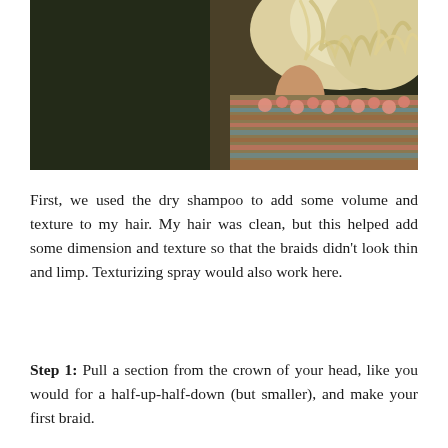[Figure (photo): Close-up photo of a person with light blonde wavy/curly hair, wearing a woven/knitted patterned garment with pink and teal tones. The background is dark and blurred.]
First, we used the dry shampoo to add some volume and texture to my hair. My hair was clean, but this helped add some dimension and texture so that the braids didn't look thin and limp. Texturizing spray would also work here.
Step 1: Pull a section from the crown of your head, like you would for a half-up-half-down (but smaller), and make your first braid.